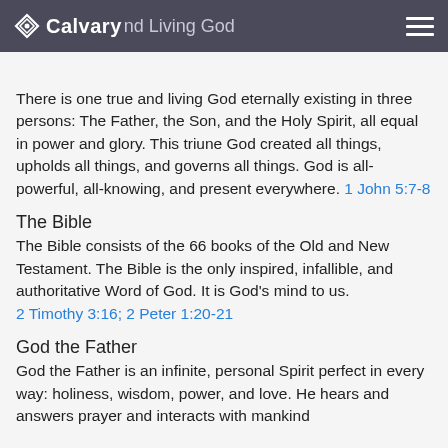Calvary | One True and Living God
There is one true and living God eternally existing in three persons: The Father, the Son, and the Holy Spirit, all equal in power and glory. This triune God created all things, upholds all things, and governs all things. God is all-powerful, all-knowing, and present everywhere. 1 John 5:7-8
The Bible
The Bible consists of the 66 books of the Old and New Testament. The Bible is the only inspired, infallible, and authoritative Word of God. It is God's mind to us. 2 Timothy 3:16; 2 Peter 1:20-21
God the Father
God the Father is an infinite, personal Spirit perfect in every way: holiness, wisdom, power, and love. He hears and answers prayer and interacts with mankind